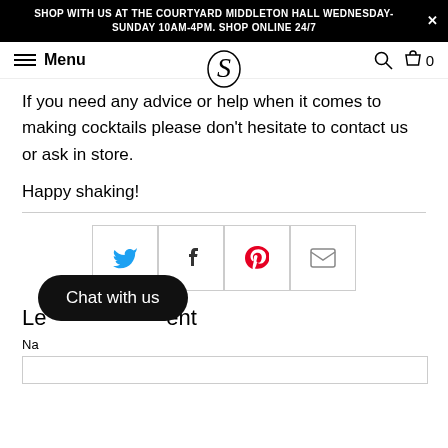SHOP WITH US AT THE COURTYARD MIDDLETON HALL WEDNESDAY-SUNDAY 10AM-4PM. SHOP ONLINE 24/7
Menu | S (logo) | Search | Cart 0
If you need any advice or help when it comes to making cocktails please don't hesitate to contact us or ask in store.
Happy shaking!
[Figure (infographic): Social sharing buttons: Twitter (bird icon), Facebook (f icon), Pinterest (P icon), Email (envelope icon)]
Leave a comment
Name
[Figure (screenshot): Chat with us button overlay (black rounded pill button)]